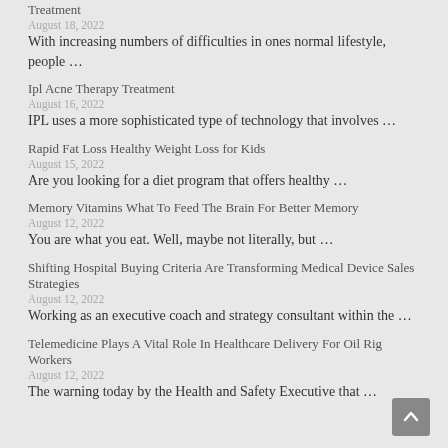Treatment
August 18, 2022
With increasing numbers of difficulties in ones normal lifestyle, people …
Ipl Acne Therapy Treatment
August 16, 2022
IPL uses a more sophisticated type of technology that involves …
Rapid Fat Loss Healthy Weight Loss for Kids
August 15, 2022
Are you looking for a diet program that offers healthy …
Memory Vitamins What To Feed The Brain For Better Memory
August 12, 2022
You are what you eat. Well, maybe not literally, but …
Shifting Hospital Buying Criteria Are Transforming Medical Device Sales Strategies
August 12, 2022
Working as an executive coach and strategy consultant within the …
Telemedicine Plays A Vital Role In Healthcare Delivery For Oil Rig Workers
August 12, 2022
The warning today by the Health and Safety Executive that …